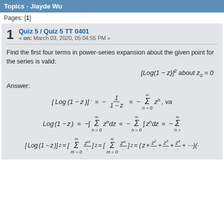Topics - Jiayde Wu
Pages: [1]
1  Quiz 5 / Quiz 5 TT 0401  « on: March 03, 2020, 05:04:55 PM »
Find the first four terms in power-series expansion about the given point for the series is valid:
Answer: